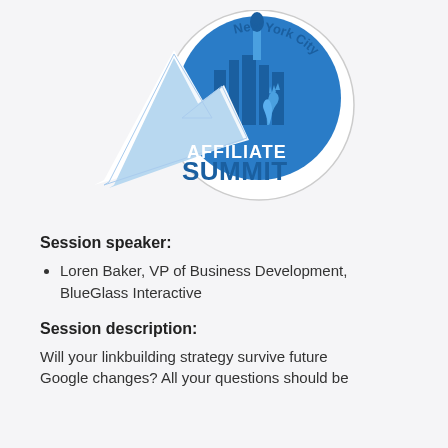[Figure (logo): Affiliate Summit New York City logo with mountain, Statue of Liberty, and city skyline in blue tones]
Session speaker:
Loren Baker, VP of Business Development, BlueGlass Interactive
Session description:
Will your linkbuilding strategy survive future Google changes? All your questions should be...